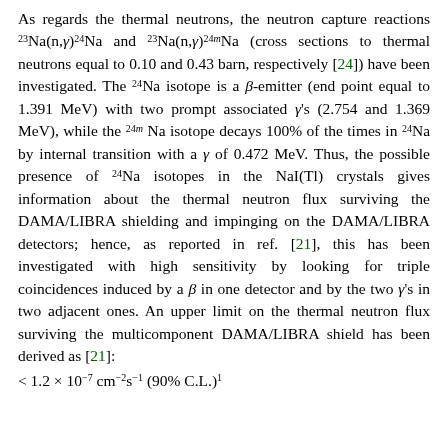As regards the thermal neutrons, the neutron capture reactions 23Na(n,γ)24Na and 23Na(n,γ)24mNa (cross sections to thermal neutrons equal to 0.10 and 0.43 barn, respectively [24]) have been investigated. The 24Na isotope is a β-emitter (end point equal to 1.391 MeV) with two prompt associated γ's (2.754 and 1.369 MeV), while the 24m Na isotope decays 100% of the times in 24Na by internal transition with a γ of 0.472 MeV. Thus, the possible presence of 24Na isotopes in the NaI(Tl) crystals gives information about the thermal neutron flux surviving the DAMA/LIBRA shielding and impinging on the DAMA/LIBRA detectors; hence, as reported in ref. [21], this has been investigated with high sensitivity by looking for triple coincidences induced by a β in one detector and by the two γ's in two adjacent ones. An upper limit on the thermal neutron flux surviving the multicomponent DAMA/LIBRA shield has been derived as [21]: < 1.2 × 10−7 cm−2s−1 (90% C.L.)1